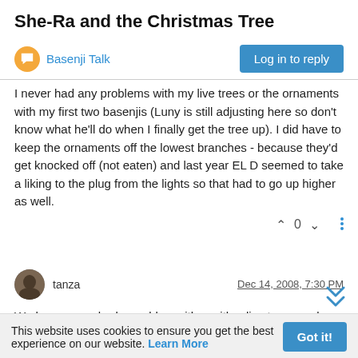She-Ra and the Christmas Tree
Basenji Talk
I never had any problems with my live trees or the ornaments with my first two basenjis (Luny is still adjusting here so don't know what he'll do when I finally get the tree up). I did have to keep the ornaments off the lowest branches - because they'd get knocked off (not eaten) and last year EL D seemed to take a liking to the plug from the lights so that had to go up higher as well.
0
tanza  Dec 14, 2008, 7:30 PM
We have never had a problem either with a live tree… only thing is that I do not decorate it all the way down, as the kids used to do the B-500 around it… and the ornaments would fall off… a while they thought about drinking from it… but that was more
This website uses cookies to ensure you get the best experience on our website. Learn More